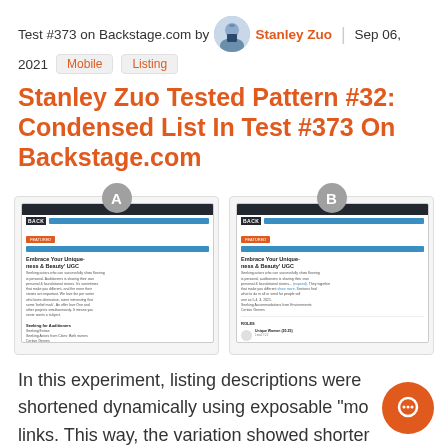Test #373 on Backstage.com by Stanley Zuo | Sep 06, 2021  Mobile  Listing
Stanley Zuo Tested Pattern #32: Condensed List In Test #373 On Backstage.com
[Figure (screenshot): Two mobile screenshots labeled A and B showing Backstage.com listing pages with 'Embrace Your Uniqueness/Beauty' UGC content and listing rows]
In this experiment, listing descriptions were shortened dynamically using exposable "more" links. This way, the variation showed shorter